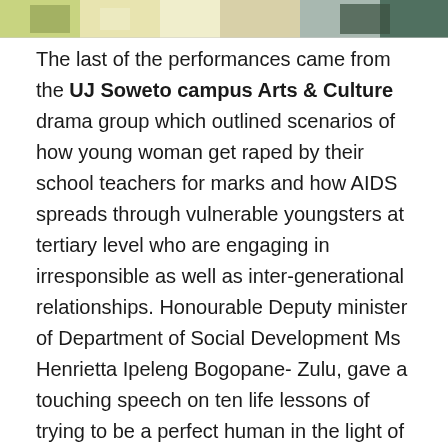[Figure (photo): A cropped photo strip at the top of the page showing people at an event, partially visible.]
The last of the performances came from the UJ Soweto campus Arts & Culture drama group which outlined scenarios of how young woman get raped by their school teachers for marks and how AIDS spreads through vulnerable youngsters at tertiary level who are engaging in irresponsible as well as inter-generational relationships. Honourable Deputy minister of Department of Social Development Ms Henrietta Ipeleng Bogopane- Zulu, gave a touching speech on ten life lessons of trying to be a perfect human in the light of striving to be our best. She closed off the speeches with a beautiful ceremony, gathering young men and woman to tie ribbons to each others' wrists to make a commitment to bettering the future of young people through giving them platforms to know themselves and their inner strength to avoid sexual health